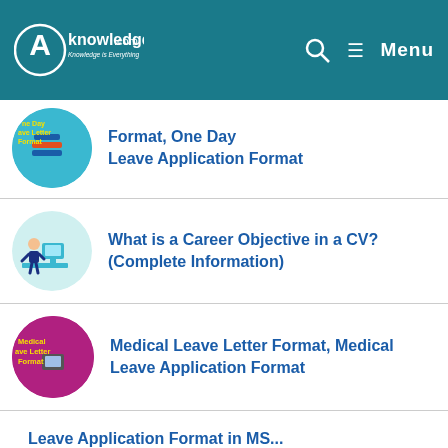AKnowledge.com — Menu
One Day Leave Letter Format, One Day Leave Application Format
What is a Career Objective in a CV? (Complete Information)
Medical Leave Letter Format, Medical Leave Application Format
Leave Application Format in MS...